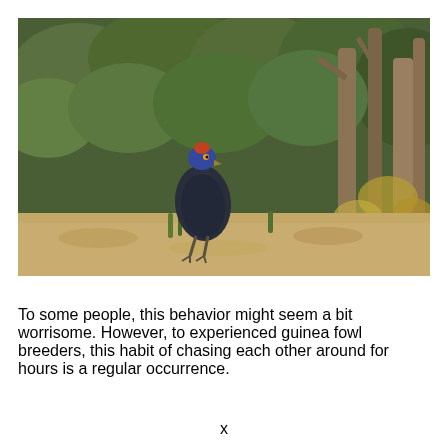[Figure (photo): A guinea fowl standing on dry ground in front of dense green bushes and tree trunks. The bird has a dark blue-black plumage, a colorful head with red and blue coloring, and is photographed in a natural outdoor setting.]
To some people, this behavior might seem a bit worrisome. However, to experienced guinea fowl breeders, this habit of chasing each other around for hours is a regular occurrence.
x